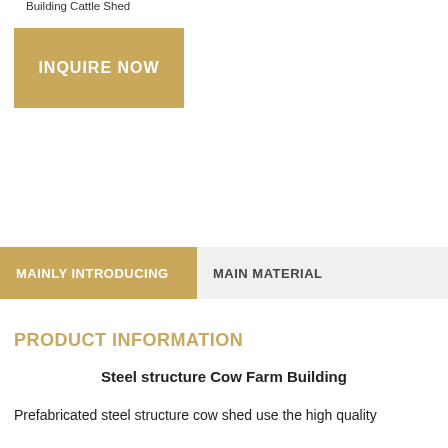Building Cattle Shed
INQUIRE NOW
MAINLY INTRODUCING	MAIN MATERIAL
PRODUCT INFORMATION
Steel structure Cow Farm Building
Prefabricated steel structure cow shed use the high quality